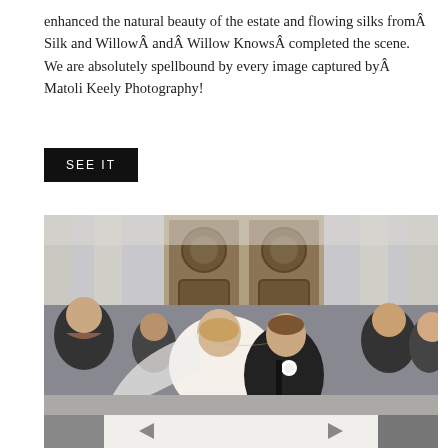enhanced the natural beauty of the estate and flowing silks fromÂ Silk and WillowÂ andÂ Willow KnowsÂ completed the scene. We are absolutely spellbound by every image captured byÂ Matoli Keely Photography!
SEE IT
[Figure (photo): Bride and groom kissing on steps of a grand building with ornate doors. Wedding party surrounds them, smiling. Bride wears a veil; groom in dark suit with white boutonniere.]
[Figure (photo): Partial bottom portion of another wedding photo, mostly light/white tones with dark elements.]